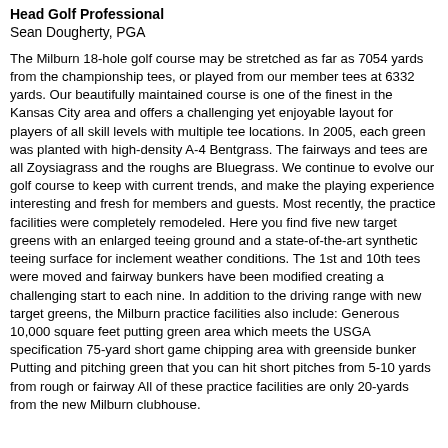Head Golf Professional
Sean Dougherty, PGA
The Milburn 18-hole golf course may be stretched as far as 7054 yards from the championship tees, or played from our member tees at 6332 yards. Our beautifully maintained course is one of the finest in the Kansas City area and offers a challenging yet enjoyable layout for players of all skill levels with multiple tee locations. In 2005, each green was planted with high-density A-4 Bentgrass. The fairways and tees are all Zoysiagrass and the roughs are Bluegrass. We continue to evolve our golf course to keep with current trends, and make the playing experience interesting and fresh for members and guests. Most recently, the practice facilities were completely remodeled. Here you find five new target greens with an enlarged teeing ground and a state-of-the-art synthetic teeing surface for inclement weather conditions. The 1st and 10th tees were moved and fairway bunkers have been modified creating a challenging start to each nine. In addition to the driving range with new target greens, the Milburn practice facilities also include: Generous 10,000 square feet putting green area which meets the USGA specification 75-yard short game chipping area with greenside bunker Putting and pitching green that you can hit short pitches from 5-10 yards from rough or fairway All of these practice facilities are only 20-yards from the new Milburn clubhouse.